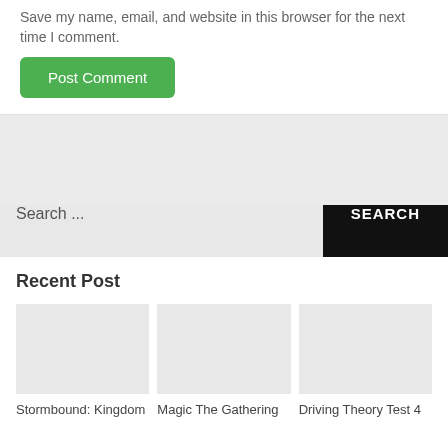Save my name, email, and website in this browser for the next time I comment.
Post Comment
Search ...
SEARCH
Recent Post
Stormbound: Kingdom
Magic The Gathering
Driving Theory Test 4